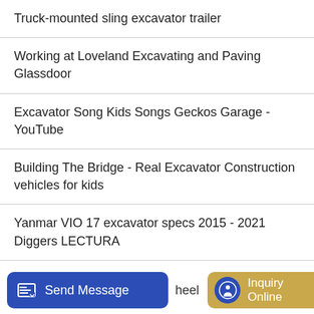Truck-mounted sling excavator trailer
Working at Loveland Excavating and Paving Glassdoor
Excavator Song Kids Songs Geckos Garage - YouTube
Building The Bridge - Real Excavator Construction vehicles for kids
Yanmar VIO 17 excavator specs 2015 - 2021 Diggers LECTURA
HOT NEWS
Excavator loading soil
heel
Send Message
Inquiry Online